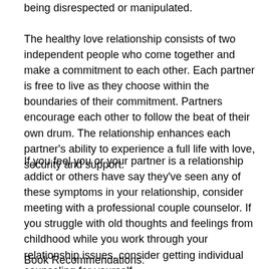being disrespected or manipulated.
The healthy love relationship consists of two independent people who come together and make a commitment to each other. Each partner is free to live as they choose within the boundaries of their commitment. Partners encourage each other to follow the beat of their own drum. The relationship enhances each partner's ability to experience a full life with love, security and support.
If you feel you or your partner is a relationship addict or others have say they've seen any of these symptoms in your relationship, consider meeting with a professional couple counselor. If you struggle with old thoughts and feelings from childhood while you work through your relationship issues, consider getting individual counseling for yourself.
Book Recommendations: